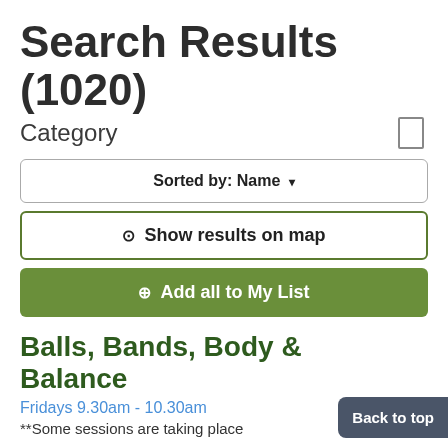Search Results (1020)
Category
Sorted by: Name ▾
⊙ Show results on map
⊕ Add all to My List
Balls, Bands, Body & Balance
Fridays 9.30am - 10.30am
**Some sessions are taking place
Back to top